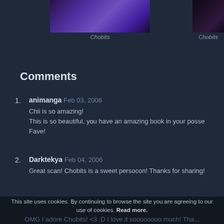[Figure (photo): Thumbnail image from Chobits anime/manga, purple-toned scene]
Chobits
[Figure (photo): Thumbnail image from Chobits anime/manga, dark-toned scene]
Chobits
Comments
animanga  Feb 03, 2006
Chii is so amazing!
This is so beautiful, you have an amazing book in your posse...
Fave!
Darktekya  Feb 04, 2006
Great scan! Chobits is a sweet persocon! Thanks for sharing!
Craelon  Feb 09, 2006
This is an amazing picture! I could use this to help me draw C...
This site uses cookies. By continuing to browse the site you are agreeing to our use of cookies. Read more.
OMG I adore Chobits! <3 :D I love it soooooooo much! Tha...